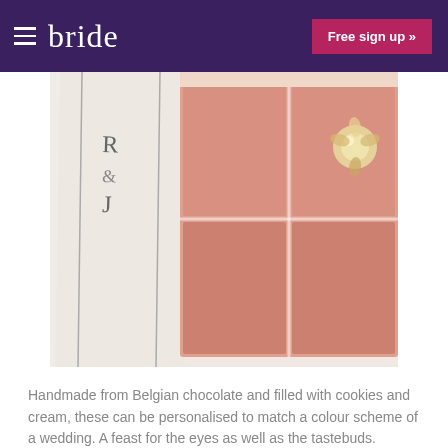bride  Free sign up »
[Figure (photo): Close-up photo of pink Belgian chocolate pieces in a white gift box with monogram label 'R & J', one chocolate topped with a decorative gold and crystal embellishment]
Handmade from Belgian chocolate and filled with cookies and cream, these can be personalised to match a colour scheme of a wedding. A feast for the eyes as well as the tastebuds.
Prices start from £4
9. Handmade Chocolate Designer Shoes